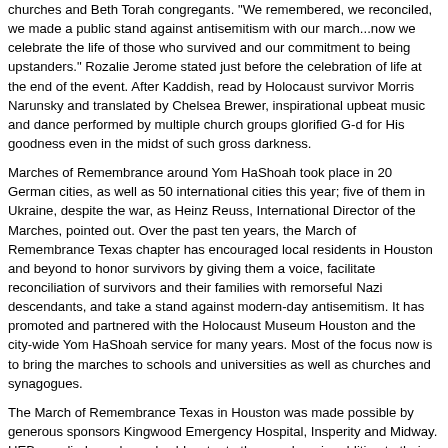churches and Beth Torah congregants. "We remembered, we reconciled, we made a public stand against antisemitism with our march...now we celebrate the life of those who survived and our commitment to being upstanders." Rozalie Jerome stated just before the celebration of life at the end of the event. After Kaddish, read by Holocaust survivor Morris Narunsky and translated by Chelsea Brewer, inspirational upbeat music and dance performed by multiple church groups glorified G-d for His goodness even in the midst of such gross darkness.
Marches of Remembrance around Yom HaShoah took place in 20 German cities, as well as 50 international cities this year; five of them in Ukraine, despite the war, as Heinz Reuss, International Director of the Marches, pointed out. Over the past ten years, the March of Remembrance Texas chapter has encouraged local residents in Houston and beyond to honor survivors by giving them a voice, facilitate reconciliation of survivors and their families with remorseful Nazi descendants, and take a stand against modern-day antisemitism. It has promoted and partnered with the Holocaust Museum Houston and the city-wide Yom HaShoah service for many years. Most of the focus now is to bring the marches to schools and universities as well as churches and synagogues.
The March of Remembrance Texas in Houston was made possible by generous sponsors Kingwood Emergency Hospital, Insperity and Midway. HEB supplied snacks and cold water to the marchers in addition to their donation. For opportunities to sponsor the 2023 march, visit Holocaust Remembrance Association¹. The Kingwood march was hosted by Creekwood Middle School with Principal Walt Winicki. Co-host was Kingwood Middle School, with Principal Michael Curl, who will host next year's march in their new facility.
The next step for this movement is the construction of the Holocaust Garden of Hope, an outdoor interactive educational initiative for the purpose of educating children and young families about the role of children as survivors, victims, rescuers, and perpetrators during the Holocaust. The Garden is the home of the Upstander Stone Project, an educational tool for students, teachers, and civic groups to paint stones in memory of the children who perished during the